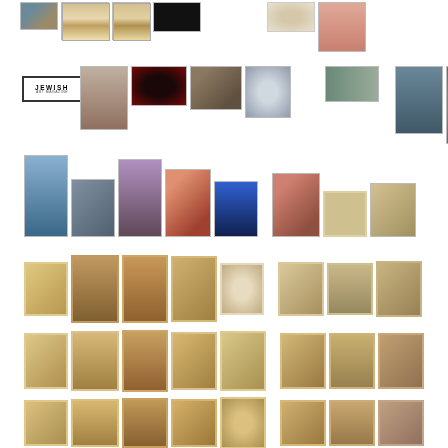[Figure (photo): Grid collage of artwork/exhibition thumbnails arranged in 6 rows. Includes Jewish art magazine covers, paintings, photographs, documents and artifacts. A Jewish Art magazine logo appears in row 2.]
[Figure (photo): Logo reading JEWISH ART in bold letters with smaller text below]